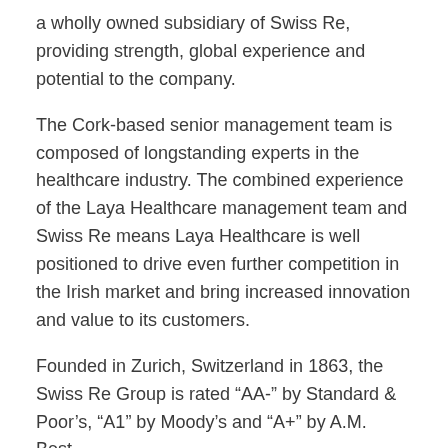a wholly owned subsidiary of Swiss Re, providing strength, global experience and potential to the company.
The Cork-based senior management team is composed of longstanding experts in the healthcare industry. The combined experience of the Laya Healthcare management team and Swiss Re means Laya Healthcare is well positioned to drive even further competition in the Irish market and bring increased innovation and value to its customers.
Founded in Zurich, Switzerland in 1863, the Swiss Re Group is rated “AA-” by Standard & Poor’s, “A1” by Moody’s and “A+” by A.M. Best.